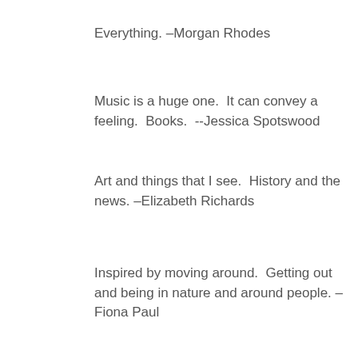Everything. –Morgan Rhodes
Music is a huge one.  It can convey a feeling.  Books.  --Jessica Spotswood
Art and things that I see.  History and the news. –Elizabeth Richards
Inspired by moving around.  Getting out and being in nature and around people. –Fiona Paul
[Figure (other): Placeholder image with a warning/caution triangle icon (grey exclamation mark in triangle) on a light grey background with a border]